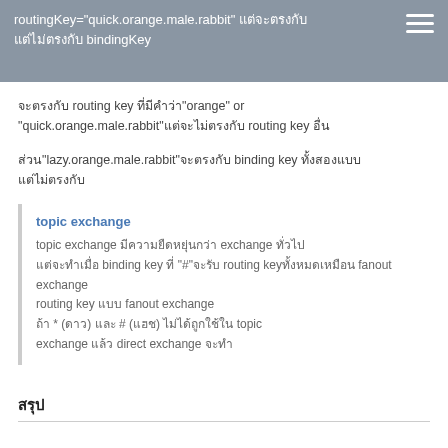routingKey="quick.orange.male.rabbit" แต่จะตรงกับ bindingKey
จะตรงกับ routing key ที่มีคำว่า"orange" or "quick.orange.male.rabbit"แต่จะไม่ตรงกับ routing key อื่น
ส่วน"lazy.orange.male.rabbit"จะตรงกับ binding key ทั้งสองแบบ
topic exchange
topic exchange มีความยืดหยุ่นกว่า exchange ทั่วไป
ส่วน binding key ที่ "#"จะรับ routing key
ทุกอย่างเหมือน fanout exchange
ถ้า * (ดาว) และ # (แฮช) ไม่ได้ถูกใช้ใน topic exchange แล้ว direct exchange จะทำ
สรุป